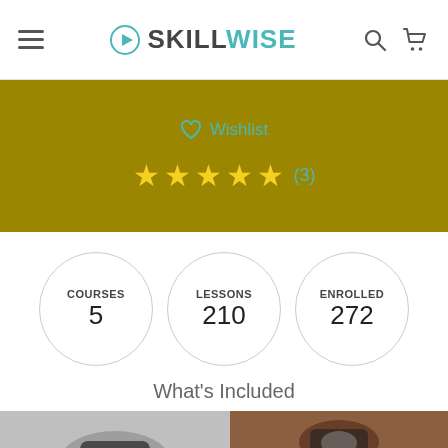SKILLWISE
♡ Wishlist
★★★★★ (3)
COURSES 5
LESSONS 210
ENROLLED 272
What's Included
[Figure (photo): Two photo thumbnails showing camera/tech equipment]
ADD TO CART ($19.99)